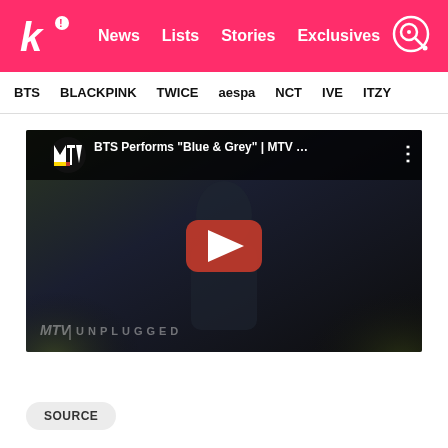kard! News  Lists  Stories  Exclusives
BTS  BLACKPINK  TWICE  aespa  NCT  IVE  ITZY
[Figure (screenshot): YouTube video thumbnail showing BTS performing 'Blue & Grey' on MTV Unplugged. Video title: BTS Performs "Blue & Grey" | MTV ... with MTV logo and three-dot menu. Red YouTube play button in center. MTV Unplugged watermark at bottom left. Dark moody background with person and foliage.]
SOURCE